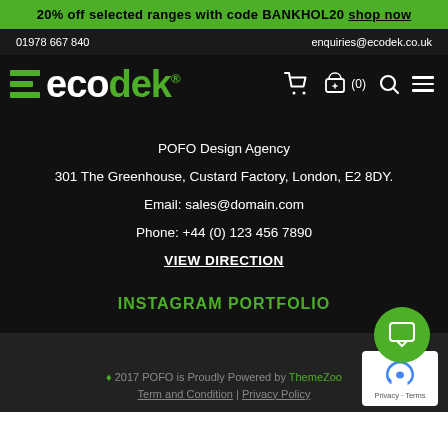20% off selected ranges with code BANKHOL20 shop now
01978 667 840   enquiries@ecodek.co.uk
[Figure (logo): Ecodek logo with green horizontal lines and text 'ecodek' with registered trademark symbol, plus navigation icons (cart, basket with count (0), search, menu)]
POFO Design Agency
301 The Greenhouse, Custard Factory, London, E2 8DY.
Email: sales@domain.com
Phone: +44 (0) 123 456 7890
VIEW DIRECTION
INSTAGRAM PORTFOLIO
♦ 2017 POFO is Proudly Powered by ThemeZoo   Term and Condition | Privacy Policy